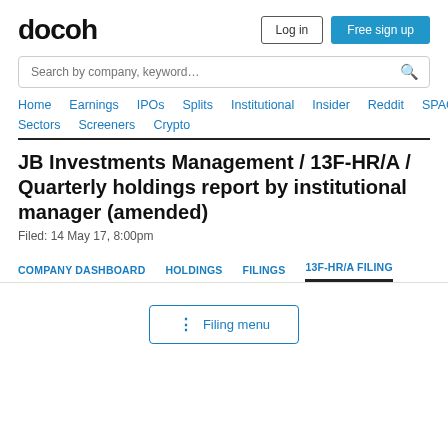docoh
Search by company, keyword…
Home  Earnings  IPOs  Splits  Institutional  Insider  Reddit  SPACs
Sectors  Screeners  Crypto
JB Investments Management / 13F-HR/A / Quarterly holdings report by institutional manager (amended)
Filed: 14 May 17, 8:00pm
COMPANY DASHBOARD  HOLDINGS  FILINGS  13F-HR/A FILING
⋮ Filing menu